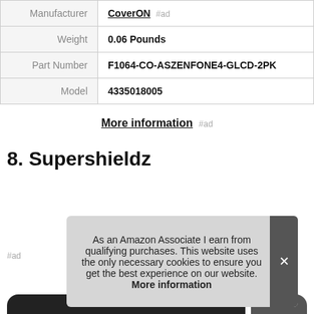| Label | Value |
| --- | --- |
| Manufacturer | CoverON #ad |
| Weight | 0.06 Pounds |
| Part Number | F1064-CO-ASZENFONE4-GLCD-2PK |
| Model | 4335018005 |
More information #ad
8. Supershieldz
As an Amazon Associate I earn from qualifying purchases. This website uses the only necessary cookies to ensure you get the best experience on our website. More information